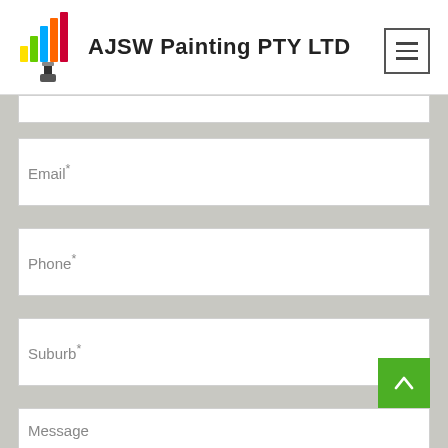[Figure (logo): AJSW Painting PTY LTD logo with colorful bar chart icon and paint brush]
Email*
Phone*
Suburb*
Message